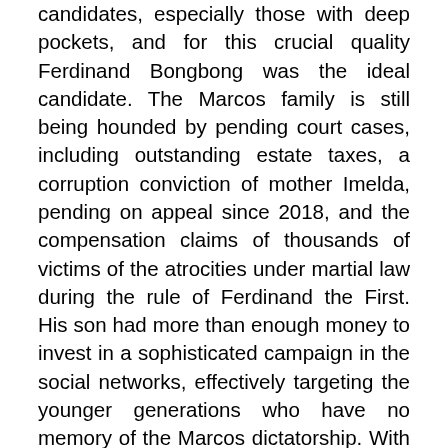candidates, especially those with deep pockets, and for this crucial quality Ferdinand Bongbong was the ideal candidate. The Marcos family is still being hounded by pending court cases, including outstanding estate taxes, a corruption conviction of mother Imelda, pending on appeal since 2018, and the compensation claims of thousands of victims of the atrocities under martial law during the rule of Ferdinand the First. His son had more than enough money to invest in a sophisticated campaign in the social networks, effectively targeting the younger generations who have no memory of the Marcos dictatorship. With the help of hired influencers and lots of false information the Marcos campaign came up with effective counter-narrative for any accusation and convinced a majority that the son has nothing to do with the sins of his father. One survey found that 72% of voters between 18 and 24 have supported Marcos. But apart from jobs and price control